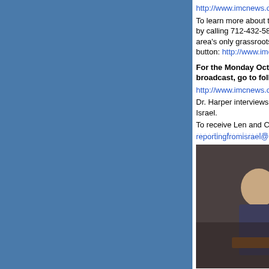http://www.imcnews.org/paper/washingtondcjuly2012d (link truncated)
To learn more about the IMCNews Hour internet radio broadcast, by calling 712-432-5888 or to download the newspaper and area's only grassroots Christian newspaper, go to the following button: http://www.imcnews.org/paper/intermountainch
For the Monday October 13th, 2015 InterMountain Christian broadcast, go to following web site link to download: http://www.imcnews.org/downloads/audio/IMCNH10132 Dr. Harper interviews Len and Cheryl Watts of Reporting from Israel. To receive Len and Cheryl Watt's Israel newsletter, send a reportingfromisrael@gmail.com.
[Figure (photo): Photo of Len and Cheryl Watts seated together at a table, smiling. Caption: Pictured left: Len and Cheryl Watts]
Pictured left: Len and Cheryl Watts
To learn more about Dr. Harper's news reporter experience, the following web site of: http://www.imcnews.org/paper/washingtondcjuly2012d To learn more about the IMCNews Hour internet radio broadcast, by calling 712-432-5888 or to download the newspaper and area's only grassroots Christian newspaper, go to the following button: http://www.imcnews.org/paper/intermountainch
For the Thursday October 8th, 2015 InterMountain Christian broadcast, go to following web site link to download: http://www.imcnews.org/downloads/audio/IMCNH10082 Dr. Harper interviews Gina Gibson from Laramie, Wyoming, States to talk about prayer and intermountain events. For more